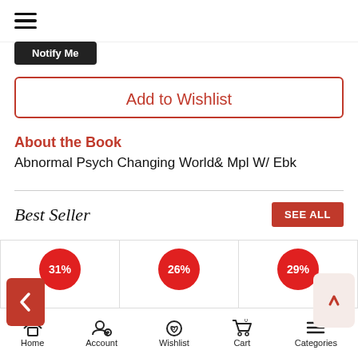[Figure (screenshot): Mobile app top bar with hamburger menu icon]
[Figure (screenshot): Notify Me button (dark/black background, partially visible at top)]
Add to Wishlist
About the Book
Abnormal Psych Changing World& Mpl W/ Ebk
Best Seller
SEE ALL
[Figure (infographic): Best Seller product cards with discount badges: 31%, 26%, 29%]
Home  Account  Wishlist  Cart  Categories